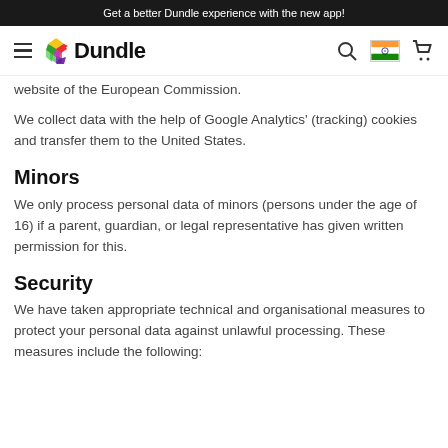Get a better Dundle experience with the new app!
[Figure (logo): Dundle logo with colorful hexagonal icon and bold text, plus hamburger menu, search, India flag, and cart icons in navigation bar]
website of the European Commission.
We collect data with the help of Google Analytics' (tracking) cookies and transfer them to the United States.
Minors
We only process personal data of minors (persons under the age of 16) if a parent, guardian, or legal representative has given written permission for this.
Security
We have taken appropriate technical and organisational measures to protect your personal data against unlawful processing. These measures include the following: